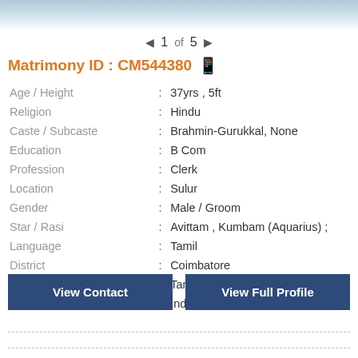[Figure (photo): Partial profile photo at the top of the matrimony card]
◄ 1 of 5 ►
Matrimony ID : CM544380
| Age / Height | : | 37yrs , 5ft |
| Religion | : | Hindu |
| Caste / Subcaste | : | Brahmin-Gurukkal, None |
| Education | : | B Com |
| Profession | : | Clerk |
| Location | : | Sulur |
| Gender | : | Male / Groom |
| Star / Rasi | : | Avittam , Kumbam (Aquarius) ; |
| Language | : | Tamil |
| District | : | Coimbatore |
| State | : | Tamil Nadu |
| Country | : | India |
View Contact
View Full Profile